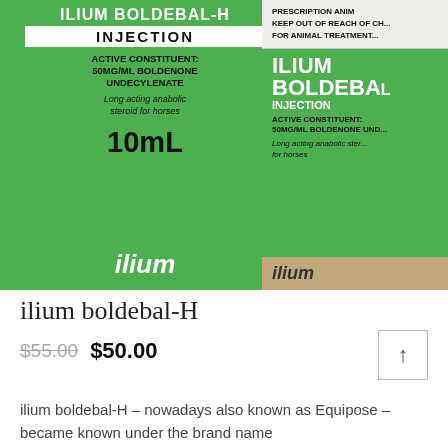[Figure (photo): Two ilium boldebal-H injection vials/boxes on a green labeled background. Left shows a flat box with 'INJECTION', 'ACTIVE CONSTITUENT: 50mg/mL BOLDENONE UNDECYLENATE', 'Long acting anabolic steroid for horses', '10mL', and 'ilium' logo. Right shows a round vial with similar labeling and 'PRESCRIPTION ANIMAL... KEEP OUT OF REACH OF CH... FOR ANIMAL TREATMENT...' text at top.]
ilium boldebal-H
$55.00  $50.00
ilium boldebal-H – nowadays also known as Equipose – became known under the brand name